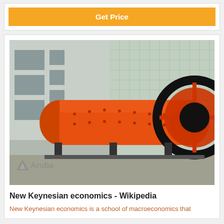[Figure (other): Orange Get Price button banner]
[Figure (photo): Industrial ball mill machine in orange color with large gear ring, photographed outdoors in front of a grey building. Aruba logo watermark in bottom left corner.]
New Keynesian economics - Wikipedia
New Keynesian economics is a school of macroeconomics that